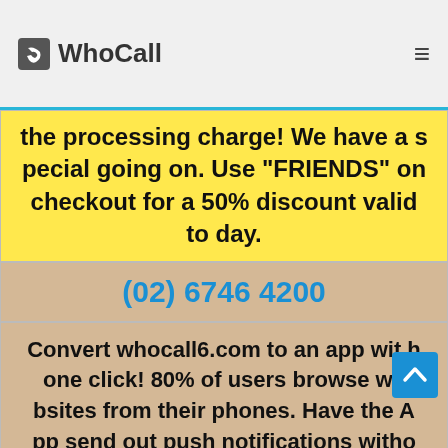WhoCall
the processing charge! We have a special going on. Use "FRIENDS" on checkout for a 50% discount valid today.
(02) 6746 4200
Convert whocall6.com to an app with one click! 80% of users browse websites from their phones. Have the App send out push notifications without any extra marketing costs! MakeMySiteMobile.com